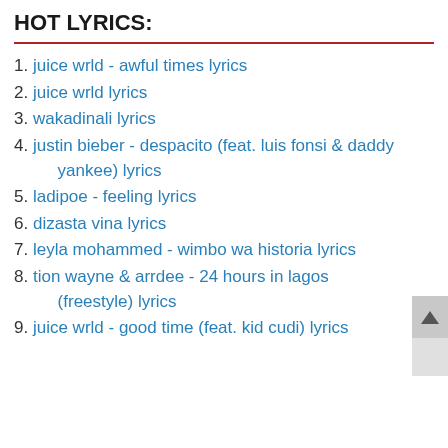HOT LYRICS:
juice wrld - awful times lyrics
juice wrld lyrics
wakadinali lyrics
justin bieber - despacito (feat. luis fonsi & daddy yankee) lyrics
ladipoe - feeling lyrics
dizasta vina lyrics
leyla mohammed - wimbo wa historia lyrics
tion wayne & arrdee - 24 hours in lagos (freestyle) lyrics
juice wrld - good time (feat. kid cudi) lyrics